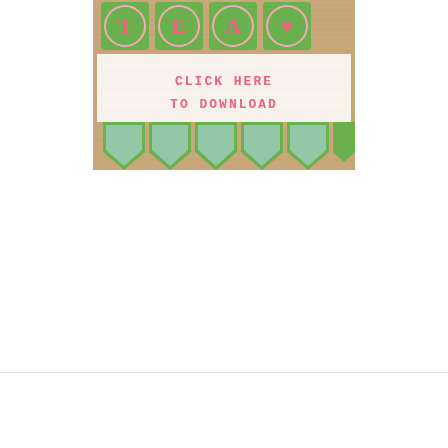[Figure (illustration): A decorative tea party banner on burlap background. The top shows pennant flags with letters 'T', 'E', 'A' and a heart in pink and green colors. A semi-transparent white overlay in the center reads 'CLICK HERE TO DOWNLOAD' in pink text. The bottom shows green banner flags with pointed bottoms arranged in a row on the burlap background.]